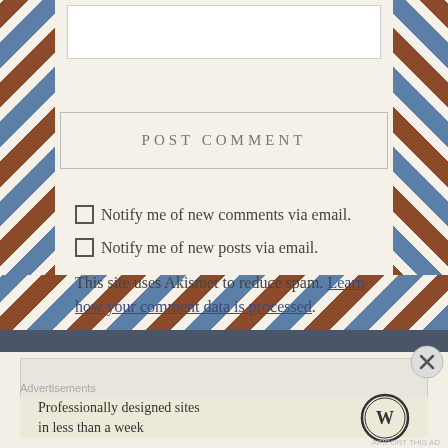[Figure (screenshot): Website comment form partial screenshot showing text input area at top, POST COMMENT button, checkbox options for email notifications, Akismet spam notice, and WordPress advertisement banner at bottom with airmail-style decorative border]
POST COMMENT
Notify me of new comments via email.
Notify me of new posts via email.
This site uses Akismet to reduce spam. Learn how your comment data is processed.
Advertisements
Professionally designed sites in less than a week